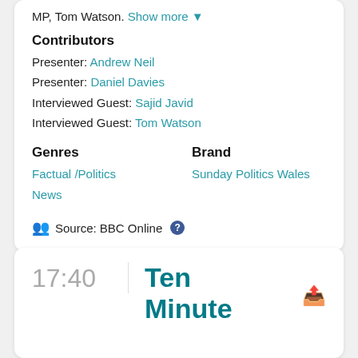MP, Tom Watson. Show more
Contributors
Presenter: Andrew Neil
Presenter: Daniel Davies
Interviewed Guest: Sajid Javid
Interviewed Guest: Tom Watson
Genres
Brand
Factual / Politics News
Sunday Politics Wales
Source: BBC Online
17:40
Ten Minute